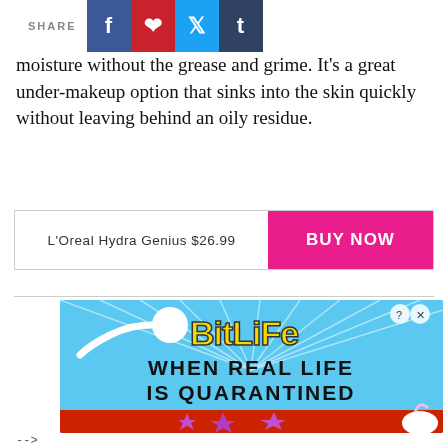SHARE
moisture without the grease and grime. It's a great under-makeup option that sinks into the skin quickly without leaving behind an oily residue.
| L'Oreal Hydra Genius $26.99 | BUY NOW |
| --- | --- |
[Figure (screenshot): BitLife game advertisement with blue background, white sperm logo, yellow 'BitLife' logo text, and text 'WHEN REAL LIFE IS QUARANTINED' with colorful emoji characters at bottom. Has close (X) and info (?) buttons in top right corner.]
-->
[Figure (screenshot): Walgreens advertisement - 'Your One Stop Vitamin Shop' with Walgreens logo]